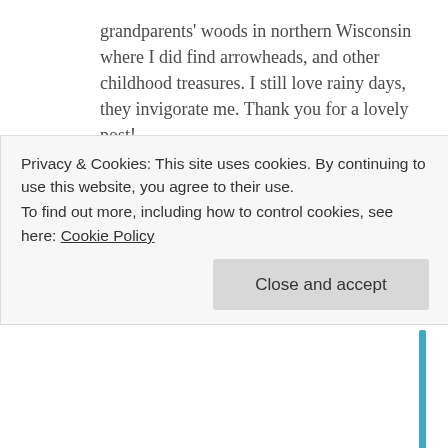grandparents' woods in northern Wisconsin where I did find arrowheads, and other childhood treasures. I still love rainy days, they invigorate me. Thank you for a lovely post!
★ Liked by 1 person
Reply
[Figure (photo): Avatar photo of commenter Mark Aldrich, showing a man in dark clothing]
Mark Aldrich · June 5, 2016
Privacy & Cookies: This site uses cookies. By continuing to use this website, you agree to their use.
To find out more, including how to control cookies, see here: Cookie Policy
Close and accept